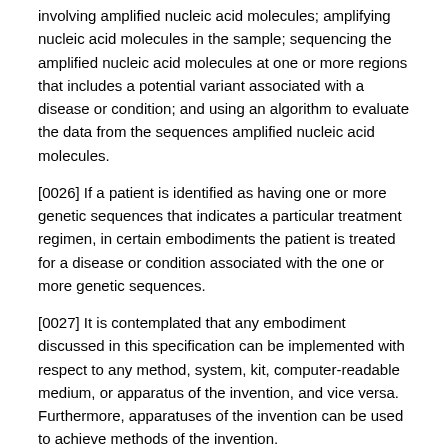involving amplified nucleic acid molecules; amplifying nucleic acid molecules in the sample; sequencing the amplified nucleic acid molecules at one or more regions that includes a potential variant associated with a disease or condition; and using an algorithm to evaluate the data from the sequences amplified nucleic acid molecules.
[0026] If a patient is identified as having one or more genetic sequences that indicates a particular treatment regimen, in certain embodiments the patient is treated for a disease or condition associated with the one or more genetic sequences.
[0027] It is contemplated that any embodiment discussed in this specification can be implemented with respect to any method, system, kit, computer-readable medium, or apparatus of the invention, and vice versa. Furthermore, apparatuses of the invention can be used to achieve methods of the invention.
[0028] The term "about" or "approximately" are defined as being close to as understood by one of ordinary skill in the art, and in one non-limiting embodiment the terms are